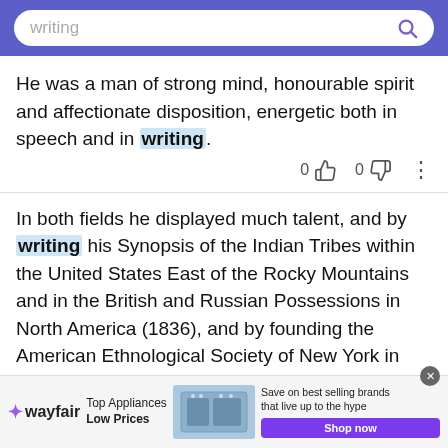writing [search bar]
He was a man of strong mind, honourable spirit and affectionate disposition, energetic both in speech and in writing.
In both fields he displayed much talent, and by writing his Synopsis of the Indian Tribes within the United States East of the Rocky Mountains and in the British and Russian Possessions in North America (1836), and by founding the American Ethnological Society of New York in 1842, he earned the title of "Father of American Ethnology."
[Figure (screenshot): Wayfair advertisement: Top Appliances Low Prices, Save on best selling brands that live up to the hype, Shop now button]